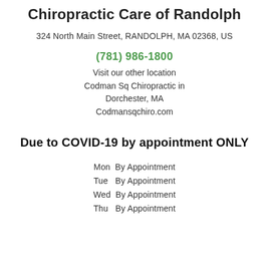Chiropractic Care of Randolph
324 North Main Street, RANDOLPH, MA 02368, US
(781) 986-1800
Visit our other location
Codman Sq Chiropractic in
Dorchester, MA
Codmansqchiro.com
Due to COVID-19 by appointment ONLY
Mon By Appointment
Tue  By Appointment
Wed By Appointment
Thu  By Appointment